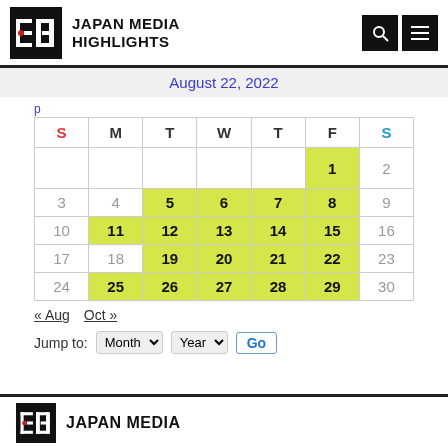JAPAN MEDIA HIGHLIGHTS
August 22, 2022
| S | M | T | W | T | F | S |
| --- | --- | --- | --- | --- | --- | --- |
|  |  |  |  |  | 1 | 2 |
| 3 | 4 | 5 | 6 | 7 | 8 | 9 |
| 10 | 11 | 12 | 13 | 14 | 15 | 16 |
| 17 | 18 | 19 | 20 | 21 | 22 | 23 |
| 24 | 25 | 26 | 27 | 28 | 29 | 30 |
« Aug   Oct »
Jump to: Month Year Go
JAPAN MEDIA